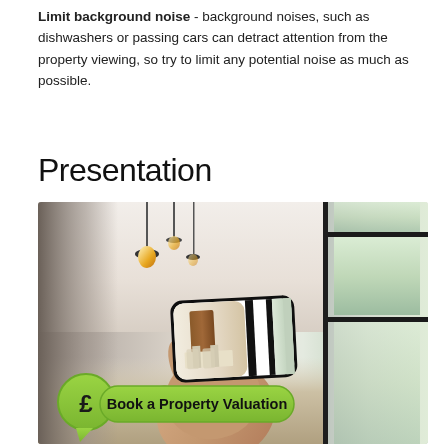Limit background noise - background noises, such as dishwashers or passing cars can detract attention from the property viewing, so try to limit any potential noise as much as possible.
Presentation
[Figure (photo): A hand holding a smartphone displaying a photo of a modern kitchen interior, set against a blurred background of a bright modern living space. A green speech-bubble badge with a pound sign and 'Book a Property Valuation' text is overlaid at the bottom left.]